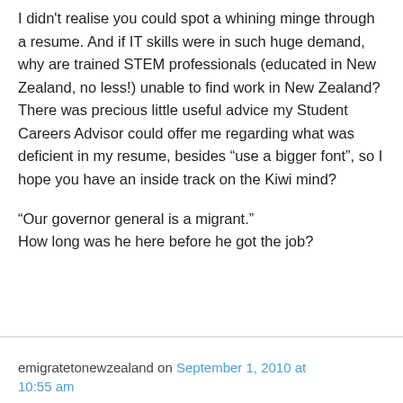I didn't realise you could spot a whining minge through a resume. And if IT skills were in such huge demand, why are trained STEM professionals (educated in New Zealand, no less!) unable to find work in New Zealand? There was precious little useful advice my Student Careers Advisor could offer me regarding what was deficient in my resume, besides “use a bigger font”, so I hope you have an inside track on the Kiwi mind?
“Our governor general is a migrant.” How long was he here before he got the job?
emigratetonewzealand on September 1, 2010 at 10:55 am